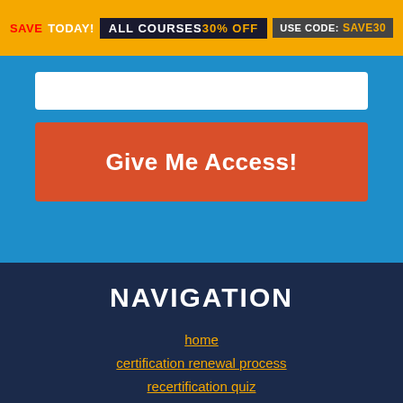[Figure (screenshot): Promotional banner: SAVE TODAY! ALL COURSES 30% OFF - USE CODE: SAVE30]
[Figure (screenshot): White input bar on blue background]
[Figure (screenshot): Red button labeled Give Me Access!]
NAVIGATION
home
certification renewal process
recertification quiz
certificate verification search
accreditations
certifications